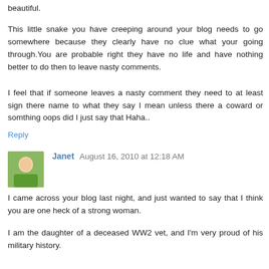beautiful.
This little snake you have creeping around your blog needs to go somewhere because they clearly have no clue what your going through.You are probable right they have no life and have nothing better to do then to leave nasty comments.
I feel that if someone leaves a nasty comment they need to at least sign there name to what they say I mean unless there a coward or somthing oops did I just say that Haha..
Reply
Janet  August 16, 2010 at 12:18 AM
I came across your blog last night, and just wanted to say that I think you are one heck of a strong woman.
I am the daughter of a deceased WW2 vet, and I'm very proud of his military history.